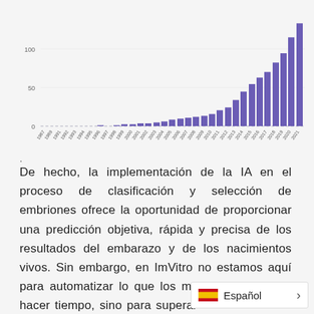[Figure (bar-chart): ]
De hecho, la implementación de la IA en el proceso de clasificación y selección de embriones ofrece la oportunidad de proporcionar una predicción objetiva, rápida y precisa de los resultados del embarazo y de los nacimientos vivos. Sin embargo, en ImVitro no estamos aquí para automatizar lo que los médicos ya pueden hacer tiempo, sino para superar